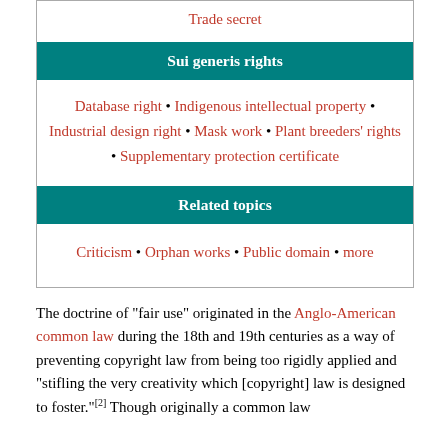Trade secret
Sui generis rights
Database right • Indigenous intellectual property • Industrial design right • Mask work • Plant breeders' rights • Supplementary protection certificate
Related topics
Criticism • Orphan works • Public domain • more
The doctrine of "fair use" originated in the Anglo-American common law during the 18th and 19th centuries as a way of preventing copyright law from being too rigidly applied and "stifling the very creativity which [copyright] law is designed to foster."[2] Though originally a common law